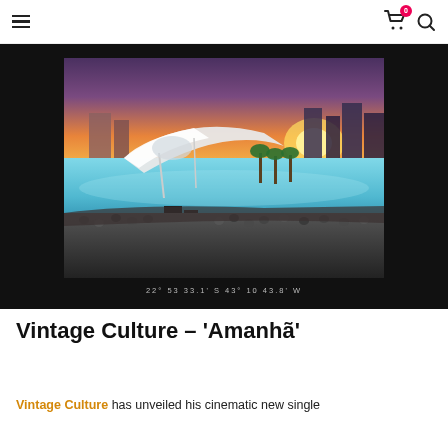Navigation header with hamburger menu, cart icon (badge: 0), and search icon
[Figure (photo): Aerial/elevated photo of a large outdoor event/concert near a modern architectural structure with a white canopy/roof, a large reflective pool/waterway, palm trees, city skyline with buildings, and a dramatic sunset sky with orange and purple tones. A large crowd is gathered in the foreground near speaker equipment.]
22° 53 33.1' S 43° 10 43.8' W
Vintage Culture – 'Amanhã'
Vintage Culture has unveiled his cinematic new single